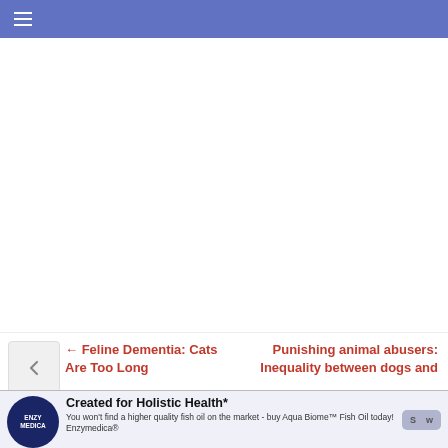Navigation bar with hamburger menu
← Feline Dementia: Cats Are Too Long
Punishing animal abusers: Inequality between dogs and
[Figure (advertisement): Enzymedica advertisement banner: Created for Holistic Health* — You won't find a higher quality fish oil on the market - buy Aqua Biome™ Fish Oil today! Enzymedica® — with logo and Shop Now button]